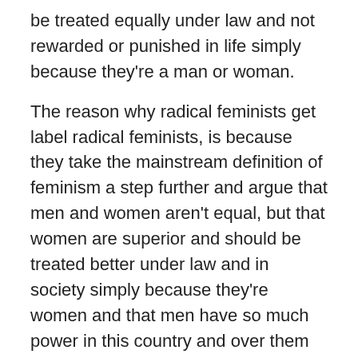be treated equally under law and not rewarded or punished in life simply because they're a man or woman.
The reason why radical feminists get label radical feminists, is because they take the mainstream definition of feminism a step further and argue that men and women aren't equal, but that women are superior and should be treated better under law and in society simply because they're women and that men have so much power in this country and over them over the years.
The other reason why radical feminists are called radical feminists and not just feminists, is because as much as they claim to be pro-choice, they're really not: being pro-choice on abortion, women's health care, and sexuality doesn't make you pro-choice. It makes you pro-choice on those issues. What radical feminists really are is pro-